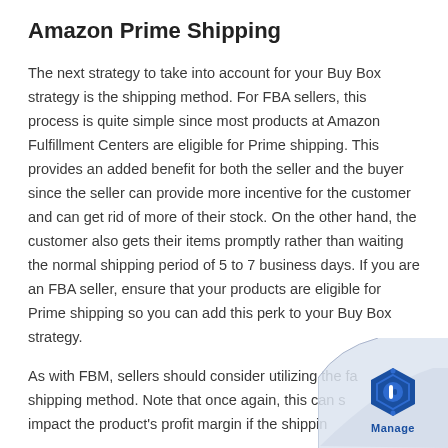Amazon Prime Shipping
The next strategy to take into account for your Buy Box strategy is the shipping method. For FBA sellers, this process is quite simple since most products at Amazon Fulfillment Centers are eligible for Prime shipping. This provides an added benefit for both the seller and the buyer since the seller can provide more incentive for the customer and can get rid of more of their stock. On the other hand, the customer also gets their items promptly rather than waiting the normal shipping period of 5 to 7 business days. If you are an FBA seller, ensure that your products are eligible for Prime shipping so you can add this perk to your Buy Box strategy.
As with FBM, sellers should consider utilizing the fastest shipping method. Note that once again, this can significantly impact the product's profit margin if the shipping...